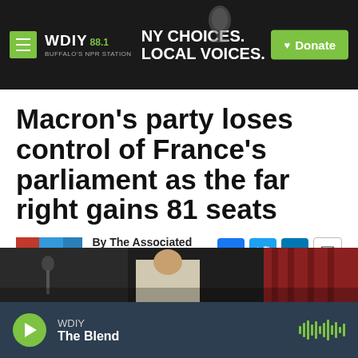WDIY 88.1 — NY CHOICES. LOCAL VOICES. — Donate
Macron's party loses control of France's parliament as the far right gains 81 seats
By The Associated Press
Published June 19, 2022 at 3:24 AM EDT
[Figure (photo): Partial photo of a person at what appears to be a podium or event, dark background with curtains visible]
WDIY — The Blend